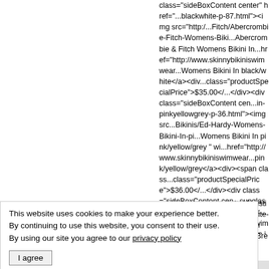class="sideBoxContent center" href="...blackwhite-p-87.html"><img src="http://...Fitch/Abercrombie-Fitch-Womens-Biki...Abercrombie & Fitch Womens Bikini In...href="http://www.skinnybikiniswimwear...Womens Bikini In black/white</a><div...class="productSpecialPrice">$35.00</...>/div><div class="sideBoxContent cen...in-pinkyellowgrey-p-36.html"><img src...Bikinis/Ed-Hardy-Womens-Bikini-In-pi...Womens Bikini In pink/yellow/grey " wi...href="http://www.skinnybikiniswimwear...pink/yellow/grey</a><div><span class...class="productSpecialPrice">$36.00</...>/div><div class="sideBoxContent cen...sunglasses-dark-brown-p-444.html"><...src="http://www.skinnybikiniswimwear....Sunglasses-dark-brown.jpg" alt="Oakl...width="130" height="98" /></a><a clas...sunglasses-dark-brown-p-444.html">O...</span>&nbsp;<span class="productS.../> Save:&nbsp;56% off</span></div><...href="http://www.skinnybikiniswimwear...
nybikiniswimwear...." alt="Christian D...98" /></a><a clas...-white-p-346.html"...$127.00 </span>...Discount"><br />S...="navBreadCrumb...
This website uses cookies to make your experience better. By continuing to use this website, you consent to their use. By using our site you agree to our privacy policy
I agree
http://www.skinnybikiniswimwear...